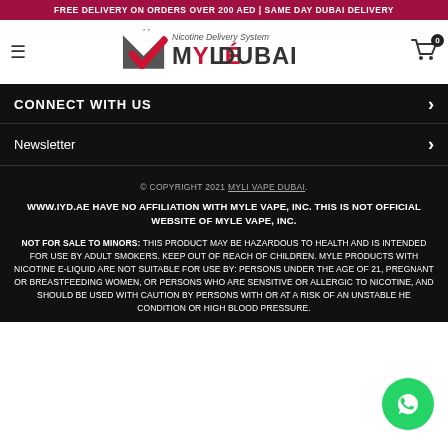FREE DELIVERY ON ORDERS OVER 200 AED | SAME DAY DUBAI DELIVERY
[Figure (logo): Myle Dubai logo with hamburger menu on left and shopping cart icon with badge '0' on right]
CONNECT WITH US
Newsletter
© COPYRIGHT 2021 MYLI VAPE DUBAI.
WWW.IYD.AE HAVE NO AFFILIATION WITH MYLE VAPE, INC. THIS IS NOT OFFICIAL WEBSITE OF MYLE VAPE, INC.
NOT FOR SALE TO MINORS: THIS PRODUCT MAY BE HAZARDOUS TO HEALTH AND IS INTENDED FOR USE BY ADULT SMOKERS. KEEP OUT OF REACH OF CHILDREN. MYLE PRODUCTS WITH NICOTINE E-LIQUID ARE NOT SUITABLE FOR USE BY: PERSONS UNDER THE AGE OF 21, PREGNANT OR BREASTFEEDING WOMEN, OR PERSONS WHO ARE SENSITIVE OR ALLERGIC TO NICOTINE, AND SHOULD BE USED WITH CAUTION BY PERSONS WITH OR AT A RISK OF AN UNSTABLE HEART CONDITION OR HIGH BLOOD PRESSURE.